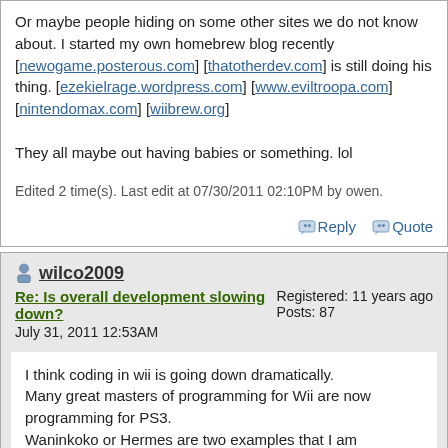Or maybe people hiding on some other sites we do not know about. I started my own homebrew blog recently [newogame.posterous.com] [thatotherdev.com] is still doing his thing. [ezekielrage.wordpress.com] [www.eviltroopa.com] [nintendomax.com] [wiibrew.org]

They all maybe out having babies or something. lol
Edited 2 time(s). Last edit at 07/30/2011 02:10PM by owen.
Reply   Quote
wilco2009
Re: Is overall development slowing down?
July 31, 2011 12:53AM
Registered: 11 years ago
Posts: 87
I think coding in wii is going down dramatically.
Many great masters of programming for Wii are now programming for PS3.
Waninkoko or Hermes are two examples that I am